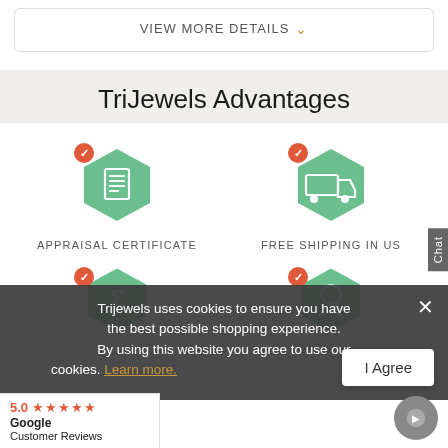VIEW MORE DETAILS ▾
TriJewels Advantages
[Figure (illustration): Green hexagon icon with white certificate/document symbol and orange checkmark badge, labeled APPRAISAL CERTIFICATE]
[Figure (illustration): Green hexagon icon with white truck/delivery symbol and orange checkmark badge, labeled FREE SHIPPING IN US]
[Figure (illustration): Green hexagon icon with white sigma/price tag symbol and orange checkmark badge (partially visible)]
[Figure (illustration): Green hexagon icon with white award/ribbon symbol and orange checkmark badge, labeled WARRANTY (partially visible)]
Trijewels uses cookies to ensure you have the best possible shopping experience. By using this website you agree to use our cookies. Learn more.
I Agree
5.0 ★★★★★ Google Customer Reviews